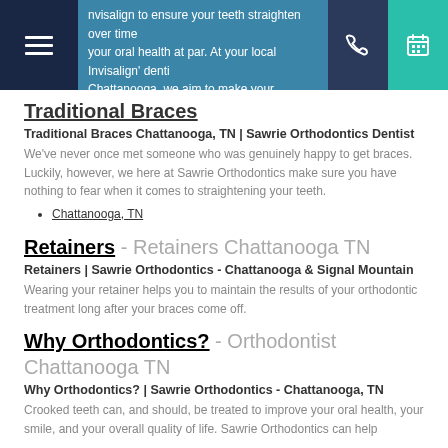invisalign to ensure your teeth straighten over time your oral health at par. At your local Invisalign dentist Chattanooga, we aim to make your experience count.
Traditional Braces
Traditional Braces Chattanooga, TN | Sawrie Orthodontics Dentist
We've never once met someone who was genuinely happy to get braces. Luckily, however, we here at Sawrie Orthodontics make sure you have nothing to fear when it comes to straightening your teeth.
Chattanooga, TN
Retainers - Retainers Chattanooga TN
Retainers | Sawrie Orthodontics - Chattanooga & Signal Mountain
Wearing your retainer helps you to maintain the results of your orthodontic treatment long after your braces come off.
Why Orthodontics? - Orthodontist Chattanooga TN
Why Orthodontics? | Sawrie Orthodontics - Chattanooga, TN
Crooked teeth can, and should, be treated to improve your oral health, your smile, and your overall quality of life. Sawrie Orthodontics can help